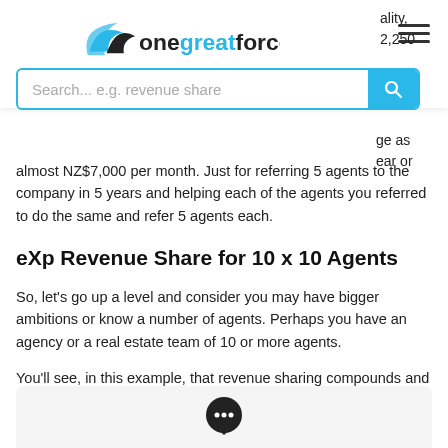onegreatforce — Search... e.g. revenue share
almost NZ$7,000 per month. Just for referring 5 agents to the company in 5 years and helping each of the agents you referred to do the same and refer 5 agents each.
eXp Revenue Share for 10 x 10 Agents
So, let’s go up a level and consider you may have bigger ambitions or know a number of agents. Perhaps you have an agency or a real estate team of 10 or more agents.
You’ll see, in this example, that revenue sharing compounds and can start to really add up quickly.
So, if you’re an attraction King or Queen, and in 2 years you attract ten agents, which